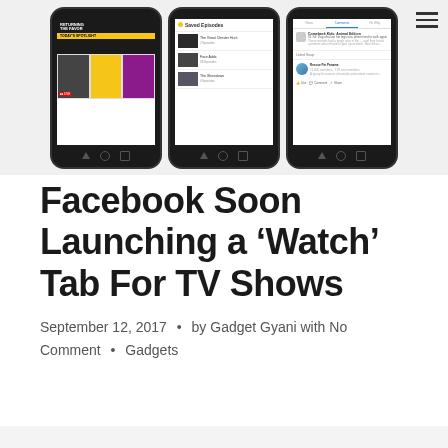[Figure (screenshot): Three Android smartphone screens showing Facebook Watch tab features: (1) a video streaming screen with 'Today's Spotlight' and live content grid, (2) a 'Saved Episodes' list with show thumbnails, (3) a Facebook news feed view with a Linked Group called 'Rescue Pet Panama']
Facebook Soon Launching a ‘Watch’ Tab For TV Shows
September 12, 2017 • by Gadget Gyani with No Comment • Gadgets